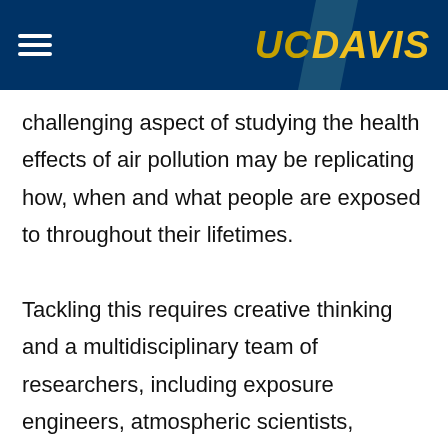UC Davis
challenging aspect of studying the health effects of air pollution may be replicating how, when and what people are exposed to throughout their lifetimes.

Tackling this requires creative thinking and a multidisciplinary team of researchers, including exposure engineers, atmospheric scientists, toxicologists, biologists, behaviorists and animal care specialists.